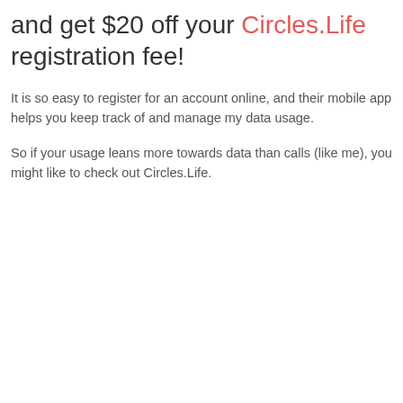and get $20 off your Circles.Life registration fee!
It is so easy to register for an account online, and their mobile app helps you keep track of and manage my data usage.
So if your usage leans more towards data than calls (like me), you might like to check out Circles.Life.